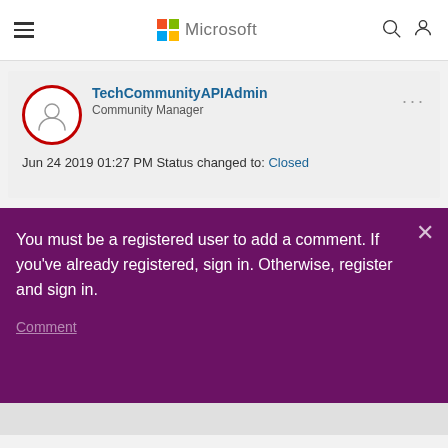[Figure (logo): Microsoft logo with colorful four-square grid and 'Microsoft' wordmark in gray]
TechCommunityAPIAdmin
Community Manager
Jun 24 2019 01:27 PM Status changed to: Closed
You must be a registered user to add a comment. If you've already registered, sign in. Otherwise, register and sign in.
Comment